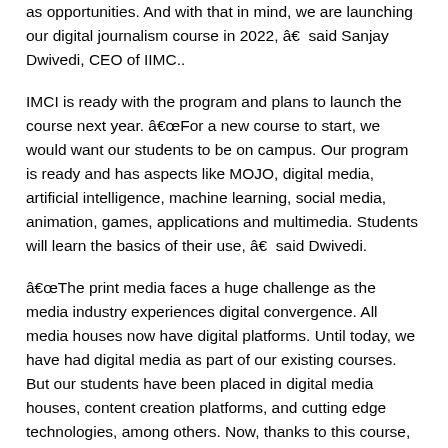as opportunities. And with that in mind, we are launching our digital journalism course in 2022, â€  said Sanjay Dwivedi, CEO of IIMC..
IMCI is ready with the program and plans to launch the course next year. â€œFor a new course to start, we would want our students to be on campus. Our program is ready and has aspects like MOJO, digital media, artificial intelligence, machine learning, social media, animation, games, applications and multimedia. Students will learn the basics of their use, â€  said Dwivedi.
â€œThe print media faces a huge challenge as the media industry experiences digital convergence. All media houses now have digital platforms. Until today, we have had digital media as part of our existing courses. But our students have been placed in digital media houses, content creation platforms, and cutting edge technologies, among others. Now, thanks to this course, we will create communicators for these sectors, â€  explained Dwivedi.